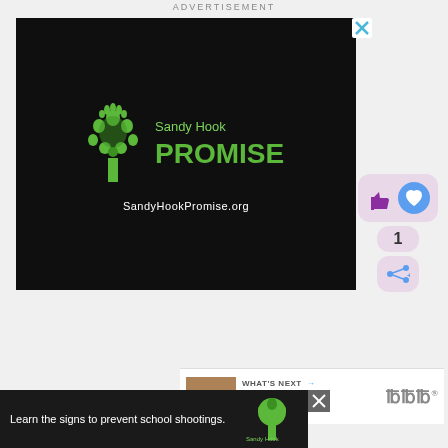ADVERTISEMENT
[Figure (illustration): Sandy Hook Promise advertisement on black background with green tree logo made of hands and text 'Sandy Hook PROMISE' and 'SandyHookPromise.org']
[Figure (screenshot): Social media interaction sidebar with thumb/heart icons, count of 1, and share button]
[Figure (screenshot): What's Next panel: Top 10 Recipes thumbnail with branding]
[Figure (illustration): Bottom banner ad: 'Learn the signs to prevent school shootings.' with Sandy Hook Promise logo on dark background]